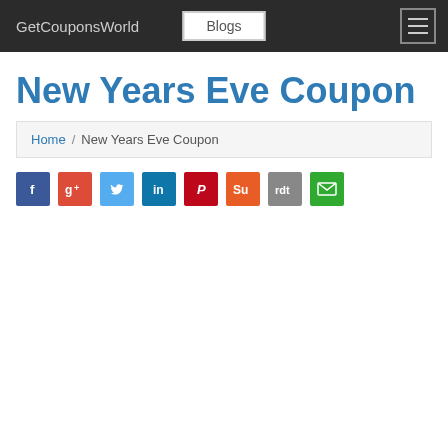GetCouponsWorld  Blogs
New Years Eve Coupon
Home / New Years Eve Coupon
[Figure (infographic): Row of social sharing icon buttons: Facebook (blue), Google+ (red), Twitter (light blue), LinkedIn (dark blue), Pinterest (dark red), StumbleUpon (orange), Reddit (gray), Email (green)]